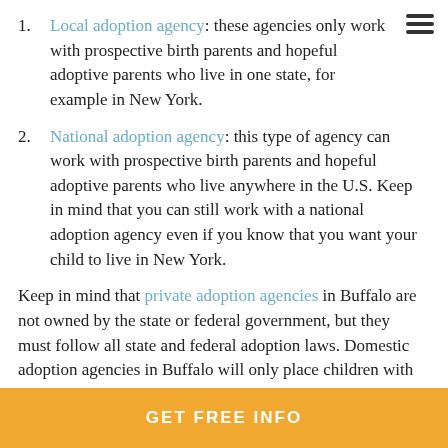Local adoption agency: these agencies only work with prospective birth parents and hopeful adoptive parents who live in one state, for example in New York.
National adoption agency: this type of agency can work with prospective birth parents and hopeful adoptive parents who live anywhere in the U.S. Keep in mind that you can still work with a national adoption agency even if you know that you want your child to live in New York.
Keep in mind that private adoption agencies in Buffalo are not owned by the state or federal government, but they must follow all state and federal adoption laws. Domestic adoption agencies in Buffalo will only place children with families who live in the U.S.
GET FREE INFO